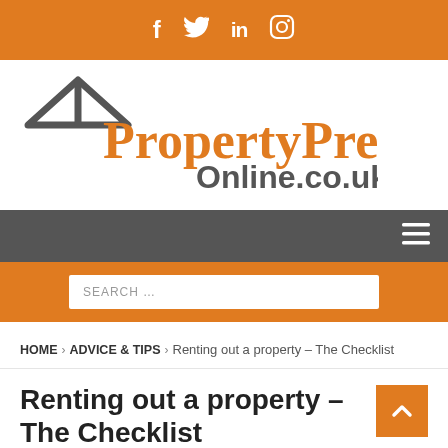f  twitter  in  instagram
[Figure (logo): PropertyPress Online.co.uk logo with house roof icon in grey and orange text]
[Figure (screenshot): Dark grey navigation bar with hamburger menu icon on the right]
[Figure (screenshot): Orange search bar with white search input field showing 'SEARCH ...']
HOME > ADVICE & TIPS > Renting out a property – The Checklist
Renting out a property – The Checklist